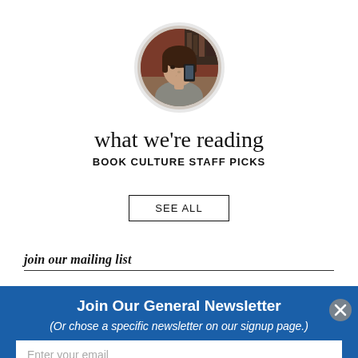[Figure (photo): Circular avatar photo of a woman thinking, holding a phone, with a bookstore background. Framed by a light grey circle border.]
what we're reading
BOOK CULTURE STAFF PICKS
SEE ALL
join our mailing list
Join Our General Newsletter
(Or chose a specific newsletter on our signup page.)
Enter your email
Subscribe